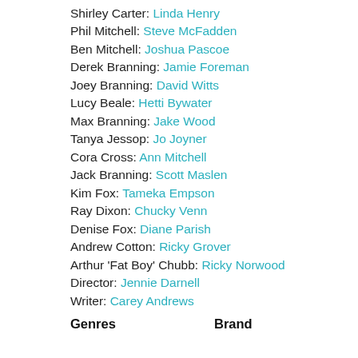Shirley Carter: Linda Henry
Phil Mitchell: Steve McFadden
Ben Mitchell: Joshua Pascoe
Derek Branning: Jamie Foreman
Joey Branning: David Witts
Lucy Beale: Hetti Bywater
Max Branning: Jake Wood
Tanya Jessop: Jo Joyner
Cora Cross: Ann Mitchell
Jack Branning: Scott Maslen
Kim Fox: Tameka Empson
Ray Dixon: Chucky Venn
Denise Fox: Diane Parish
Andrew Cotton: Ricky Grover
Arthur 'Fat Boy' Chubb: Ricky Norwood
Director: Jennie Darnell
Writer: Carey Andrews
Genres   Brand